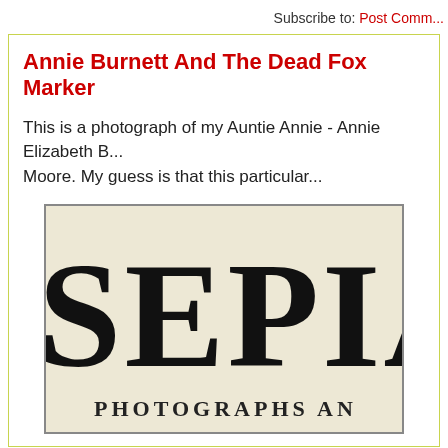Subscribe to: Post Comm...
Annie Burnett And The Dead Fox Marker
This is a photograph of my Auntie Annie - Annie Elizabeth B... Moore. My guess is that this particular...
[Figure (illustration): Partial view of a book or publication cover with large serif text reading 'SEPIA T' (cut off) and below it 'PHOTOGRAPHS AN' (cut off), on a cream/sepia colored background.]